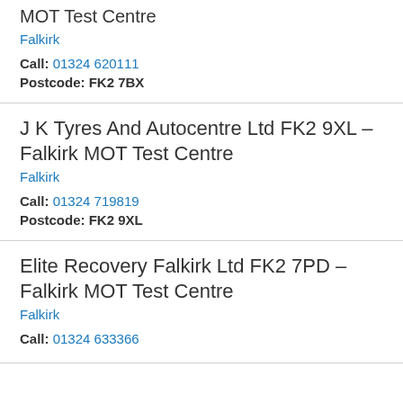MOT Test Centre
Falkirk
Call: 01324 620111
Postcode: FK2 7BX
J K Tyres And Autocentre Ltd FK2 9XL – Falkirk MOT Test Centre
Falkirk
Call: 01324 719819
Postcode: FK2 9XL
Elite Recovery Falkirk Ltd FK2 7PD – Falkirk MOT Test Centre
Falkirk
Call: 01324 633366